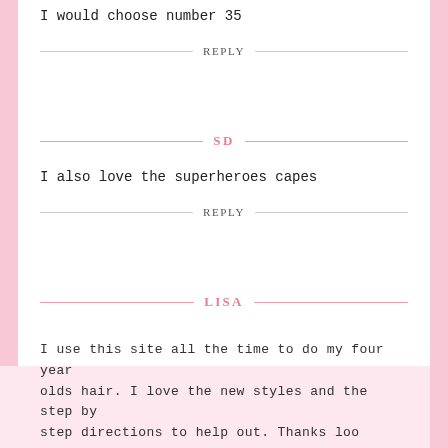I would choose number 35
REPLY
SD
I also love the superheroes capes
REPLY
LISA
I use this site all the time to do my four year olds hair. I love the new styles and the step by step directions to help out. Thanks loo...